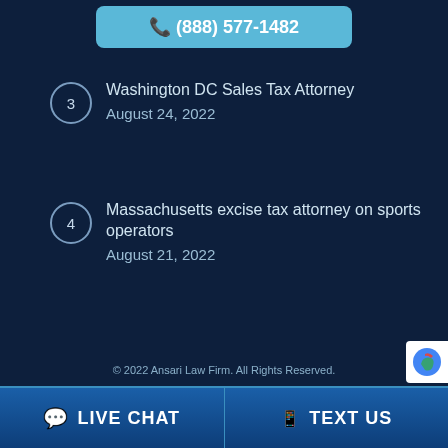(888) 577-1482
Washington DC Sales Tax Attorney
August 24, 2022
Massachusetts excise tax attorney on sports operators
August 21, 2022
© 2022 Ansari Law Firm. All Rights Reserved.
LIVE CHAT
TEXT US